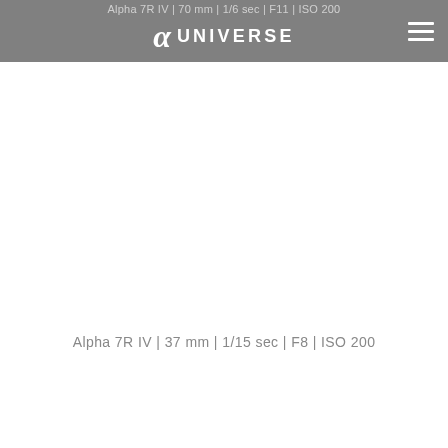Alpha 7R IV | 70 mm | 1/6 sec | F11 | ISO 200
[Figure (logo): Alpha Universe logo with stylized alpha symbol and UNIVERSE text, hamburger menu icon on right, on gray background]
Alpha 7R IV | 37 mm | 1/15 sec | F8 | ISO 200